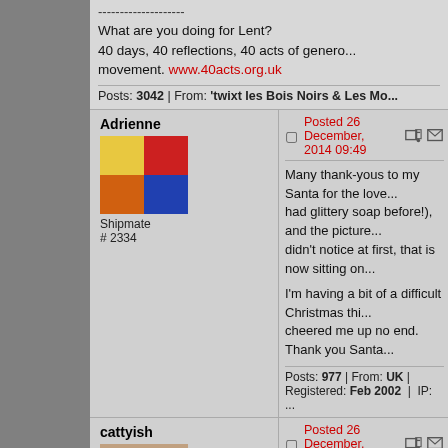And :) because my Santee seems happ...
--------------------
What are you doing for Lent?
40 days, 40 reflections, 40 acts of genero... movement. www.40acts.org.uk
Posts: 3042 | From: 'twixt les Bois Noirs & Les Mor...
Adrienne
[Figure (photo): Adrienne's avatar - colorful squares in yellow, red, orange, blue]
Shipmate
# 2334
Posted 26 December, 2014 09:49
Many thank-yous to my Santa for the love... had glittery soap before!), and the picture... didn't notice at first, that is now sitting on...

I'm having a bit of a difficult Christmas thi... cheered me up no end. Thank you Santa...
Posts: 977 | From: UK | Registered: Feb 2002 | IP: ...
cattyish
[Figure (photo): cattyish's avatar - photo of a cat or animal]
Wuss in Boots
# 7829
Posted 26 December, 2014 10:46
Thank you Santa for my beautiful and lov... guess your Ship guise as I like the anony... which I think will feature in tomorrow's di...

Cattyish, off to make use of my recycled t...

PS I hope the international elves haven't...
[ 26. December 2014, 09:47: Message edited by...